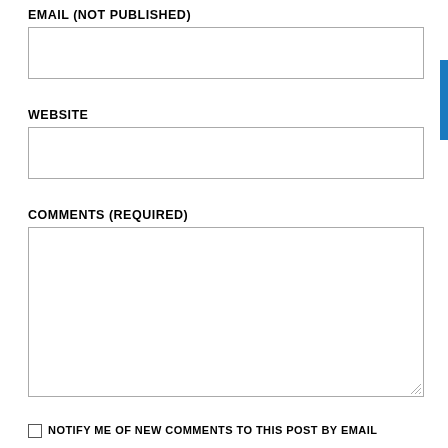EMAIL (NOT PUBLISHED)
[Figure (other): Empty email input field]
WEBSITE
[Figure (other): Empty website input field]
COMMENTS (REQUIRED)
[Figure (other): Empty comments textarea field]
NOTIFY ME OF NEW COMMENTS TO THIS POST BY EMAIL